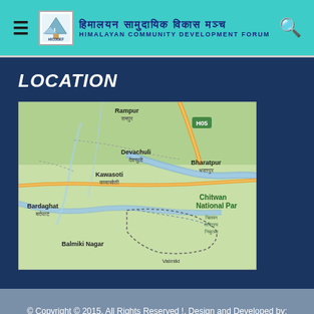HICODEF - Himalayan Community Development Forum
LOCATION
[Figure (map): Geographic map showing the Chitwan area of Nepal including locations: Rampur, Devachuli, Kawasoti, Bharatpur, Bardaghat, Balmiki Nagar, Chitwan National Park, highway H05 marked with green sign]
© Copyright © 2015, All Rights Reserved !, Design and Developed by: ExNet; 9855028275